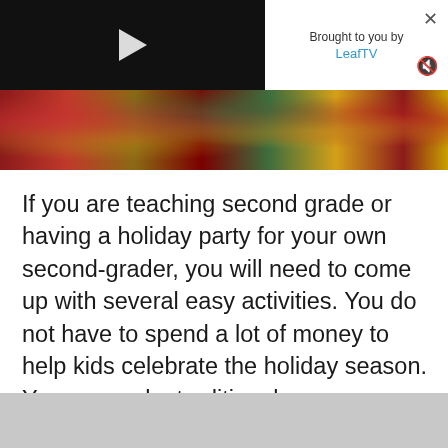[Figure (screenshot): Video player with dark background and white play button triangle in center]
Brought to you by
LeafTV
[Figure (photo): Holiday decorations photo — red, gold, and green Christmas ornaments and decorations]
If you are teaching second grade or having a holiday party for your own second-grader, you will need to come up with several easy activities. You do not have to spend a lot of money to help kids celebrate the holiday season. You can make traditional games more festive by adding a holiday twist.